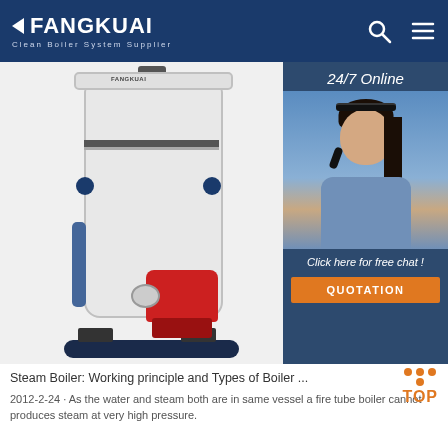FANGKUAI Clean Boiler System Supplier
[Figure (photo): Vertical cylindrical steam boiler with red burner at the base, mounted on a dark blue stand, with a headset-wearing customer support woman overlay on the right side showing '24/7 Online' and 'Click here for free chat! QUOTATION' button]
Steam Boiler: Working principle and Types of Boiler ...
2012-2-24 · As the water and steam both are in same vessel a fire tube boiler cannot produces steam at very high pressure.